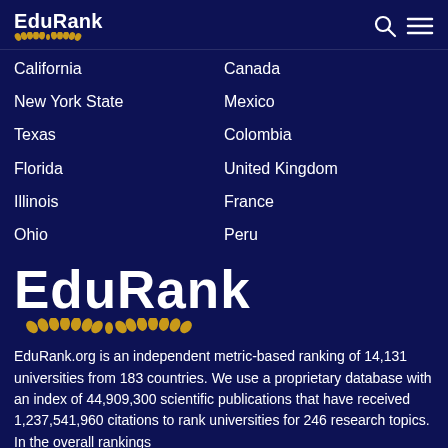EduRank
California
Canada
New York State
Mexico
Texas
Colombia
Florida
United Kingdom
Illinois
France
Ohio
Peru
[Figure (logo): EduRank large logo with golden laurel decoration]
EduRank.org is an independent metric-based ranking of 14,131 universities from 183 countries. We use a proprietary database with an index of 44,909,300 scientific publications that have received 1,237,541,960 citations to rank universities for 246 research topics. In the overall rankings